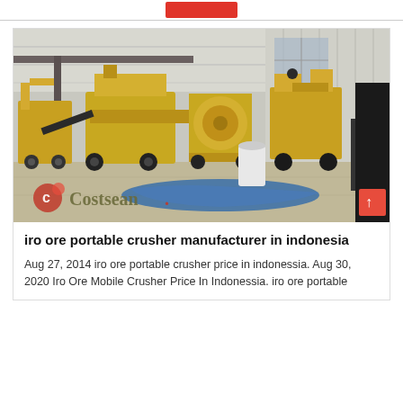[Figure (other): Red button/banner at top of webpage]
[Figure (photo): Photograph of yellow iron ore portable crusher machines inside a large industrial warehouse. Multiple heavy machines on wheels are lined up. A blue tarpaulin lies on the floor. The Costsean logo watermark is visible in the bottom-left corner.]
iro ore portable crusher manufacturer in indonesia
Aug 27, 2014 iro ore portable crusher price in indonessia. Aug 30, 2020 Iro Ore Mobile Crusher Price In Indonessia. iro ore portable